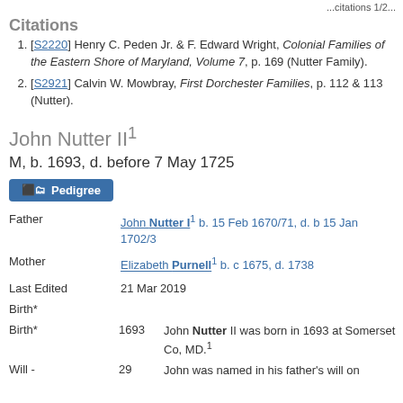...citations 1/2...
Citations
[S2220] Henry C. Peden Jr. & F. Edward Wright, Colonial Families of the Eastern Shore of Maryland, Volume 7, p. 169 (Nutter Family).
[S2921] Calvin W. Mowbray, First Dorchester Families, p. 112 & 113 (Nutter).
John Nutter II
M, b. 1693, d. before 7 May 1725
Pedigree
| Field | Date | Value |
| --- | --- | --- |
| Father |  | John Nutter I b. 15 Feb 1670/71, d. b 15 Jan 1702/3 |
| Mother |  | Elizabeth Purnell b. c 1675, d. 1738 |
| Last Edited |  | 21 Mar 2019 |
| Birth* | 1693 | John Nutter II was born in 1693 at Somerset Co, MD. |
| Will - | 29 | John was named in his father's will on |